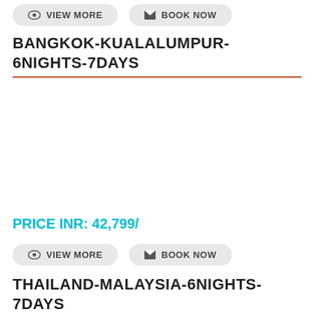VIEW MORE   BOOK NOW
BANGKOK-KUALALUMPUR-6NIGHTS-7DAYS
PRICE INR: 42,799/
VIEW MORE   BOOK NOW
THAILAND-MALAYSIA-6NIGHTS-7DAYS